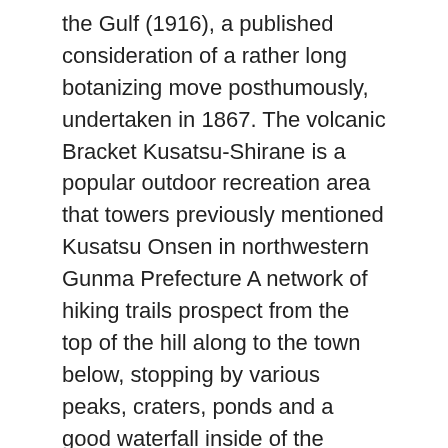the Gulf (1916), a published consideration of a rather long botanizing move posthumously, undertaken in 1867. The volcanic Bracket Kusatsu-Shirane is a popular outdoor recreation area that towers previously mentioned Kusatsu Onsen in northwestern Gunma Prefecture A network of hiking trails prospect from the top of the hill along to the town below, stopping by various peaks, craters, ponds and a good waterfall inside of the certain place.
On ancient reliefs , from Mesopotamia especially , nobleman are generally depicted as seekers of major video game many of these as lions and http://todayasia.net/hunting/ are generally portrayed camping from a warfare chariot The cultural and psychological importance of camping in ancient societies is represented by deities many of these as the